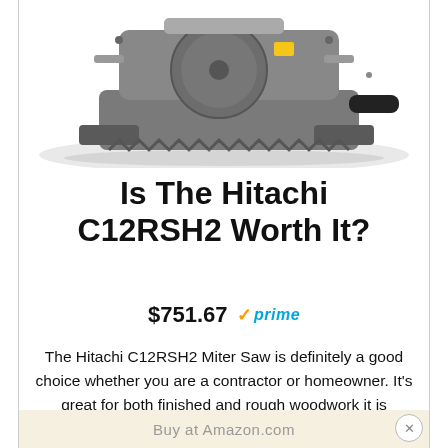[Figure (photo): A Hitachi C12RSH2 miter saw in gray/silver color, shown from a front-angle view, with sliding mechanism and black handle visible.]
Is The Hitachi C12RSH2 Worth It?
$751.67 ✓prime
The Hitachi C12RSH2 Miter Saw is definitely a good choice whether you are a contractor or homeowner. It's great for both finished and rough woodwork it is prepared for most difficult challenges with its 15 amp motor and dual bevel saw.
Buy at Amazon.com